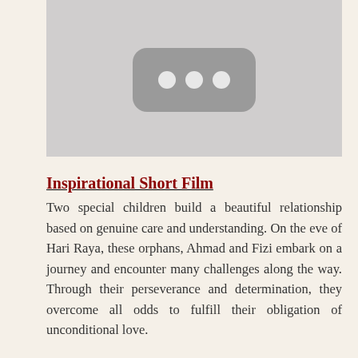[Figure (other): YouTube-style video placeholder thumbnail with grey background and a dark rounded rectangle icon with three white dots in the center]
Inspirational Short Film
Two special children build a beautiful relationship based on genuine care and understanding. On the eve of Hari Raya, these orphans, Ahmad and Fizi embark on a journey and encounter many challenges along the way. Through their perseverance and determination, they overcome all odds to fulfill their obligation of unconditional love.